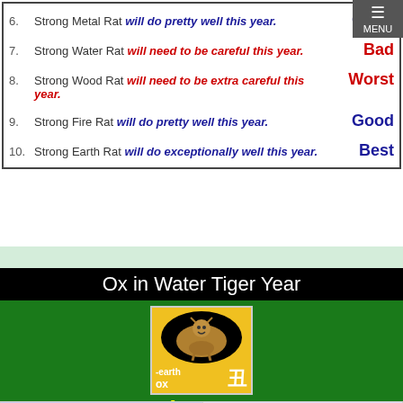6. Strong Metal Rat will do pretty well this year. Good
7. Strong Water Rat will need to be careful this year. Bad
8. Strong Wood Rat will need to be extra careful this year. Worst
9. Strong Fire Rat will do pretty well this year. Good
10. Strong Earth Rat will do exceptionally well this year. Best
Ox in Water Tiger Year
[Figure (illustration): Earth Ox zodiac image with Chinese character 丑, yellow background with black oval containing ox figure, labeled -earth ox]
Average
|  |  |
| --- | --- |
| New Element | Earth |
| Hidden Element 1 | yin Earth |